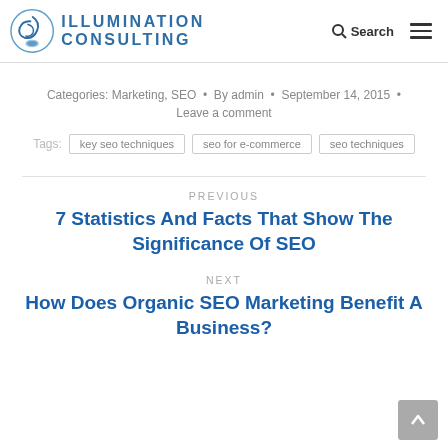Illumination Consulting — Search / Menu
Categories: Marketing, SEO • By admin • September 14, 2015 • Leave a comment
Tags: key seo techniques | seo for e-commerce | seo techniques
PREVIOUS
7 Statistics And Facts That Show The Significance Of SEO
NEXT
How Does Organic SEO Marketing Benefit A Business?